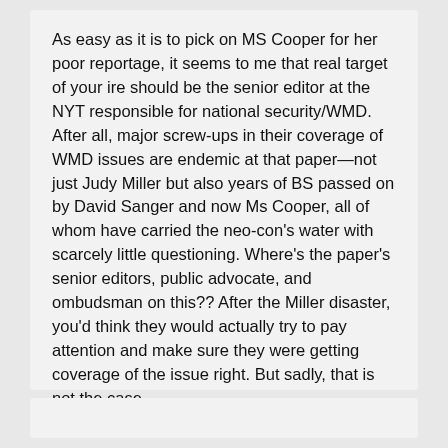As easy as it is to pick on MS Cooper for her poor reportage, it seems to me that real target of your ire should be the senior editor at the NYT responsible for national security/WMD. After all, major screw-ups in their coverage of WMD issues are endemic at that paper—not just Judy Miller but also years of BS passed on by David Sanger and now Ms Cooper, all of whom have carried the neo-con's water with scarcely little questioning. Where's the paper's senior editors, public advocate, and ombudsman on this?? After the Miller disaster, you'd think they would actually try to pay attention and make sure they were getting coverage of the issue right. But sadly, that is not the case…